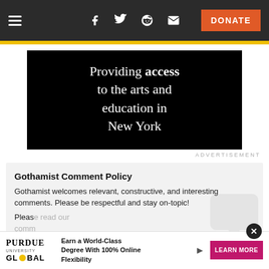≡  f  [twitter]  [reddit]  [mail]  DONATE
[Figure (infographic): Black background advertisement banner reading: Providing access to the arts and education in New York]
ADVERTISEMENT
Gothamist Comment Policy
Gothamist welcomes relevant, constructive, and interesting comments. Please be respectful and stay on-topic!
Please read our Comment Policy before commenting.
[Figure (infographic): Purdue University Global advertisement: Earn a World-Class Degree With 100% Online Flexibility. LEARN MORE button. Close button (X).]